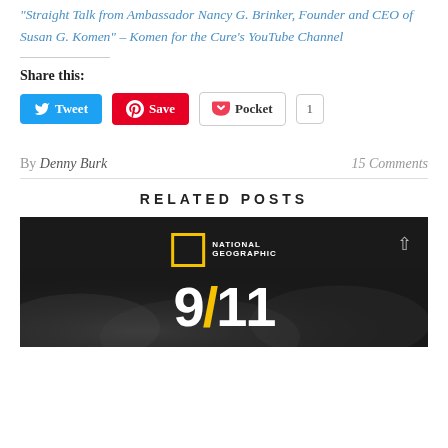“Straight Talk from Ambassador Nancy G. Brinker, Founder and CEO of Susan G. Komen” – Komen for the Cure’s YouTube Channel
Share this:
Tweet | Save | Pocket | 1
By Denny Burk   15 Comments
RELATED POSTS
[Figure (photo): National Geographic branded image showing 9/11 text on dark stormy cloud background with yellow slash between 9 and 11]